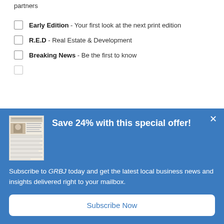partners
Early Edition - Your first look at the next print edition
R.E.D - Real Estate & Development
Breaking News - Be the first to know
[Figure (screenshot): Promotional modal overlay with blue background. Shows a newspaper thumbnail image on the left, headline 'Save 24% with this special offer!' in white bold text, body text 'Subscribe to GRBJ today and get the latest local business news and insights delivered right to your mailbox.', and a white 'Subscribe Now' button at the bottom. A close (×) button is in the top-right corner.]